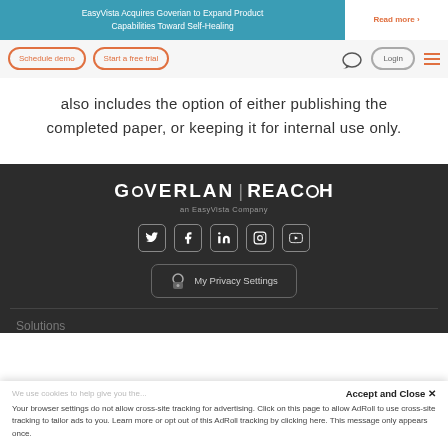EasyVista Acquires Goverian to Expand Product Capabilities Toward Self-Healing | Read more ›
[Figure (screenshot): Navigation bar with Schedule demo, Start a free trial buttons, chat icon, Login button, and hamburger menu]
also includes the option of either publishing the completed paper, or keeping it for internal use only.
[Figure (logo): GOVERLAN REACH logo - an EasyVista Company]
[Figure (infographic): Social media icons: Twitter, Facebook, LinkedIn, Instagram, YouTube]
[Figure (screenshot): My Privacy Settings button with padlock icon]
Solutions
We use cookies to help give you the...
Accept and Close ✕
Your browser settings do not allow cross-site tracking for advertising. Click on this page to allow AdRoll to use cross-site tracking to tailor ads to you. Learn more or opt out of this AdRoll tracking by clicking here. This message only appears once.